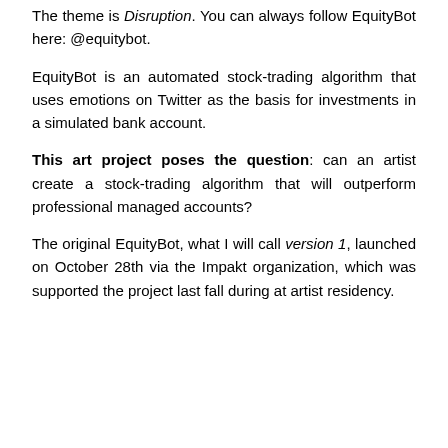The theme is Disruption. You can always follow EquityBot here: @equitybot.
EquityBot is an automated stock-trading algorithm that uses emotions on Twitter as the basis for investments in a simulated bank account.
This art project poses the question: can an artist create a stock-trading algorithm that will outperform professional managed accounts?
The original EquityBot, what I will call version 1, launched on October 28th via the Impakt organization, which was supported the project last fall during at artist residency.